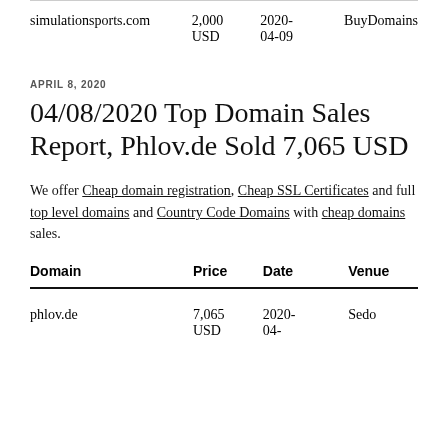| Domain | Price | Date | Venue |
| --- | --- | --- | --- |
| simulationsports.com | 2,000 USD | 2020-04-09 | BuyDomains |
APRIL 8, 2020
04/08/2020 Top Domain Sales Report, Phlov.de Sold 7,065 USD
We offer Cheap domain registration, Cheap SSL Certificates and full top level domains and Country Code Domains with cheap domains sales.
| Domain | Price | Date | Venue |
| --- | --- | --- | --- |
| phlov.de | 7,065 USD | 2020-04- | Sedo |